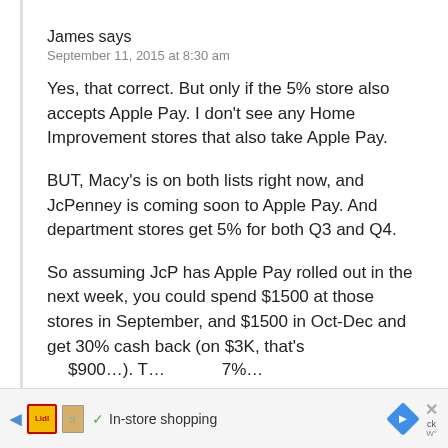James says
September 11, 2015 at 8:30 am
Yes, that correct. But only if the 5% store also accepts Apple Pay. I don't see any Home Improvement stores that also take Apple Pay.
BUT, Macy's is on both lists right now, and JcPenney is coming soon to Apple Pay. And department stores get 5% for both Q3 and Q4.
So assuming JcP has Apple Pay rolled out in the next week, you could spend $1500 at those stores in September, and $1500 in Oct-Dec and get 30% cash back (on $3K, that's $900…)…
In-store shopping